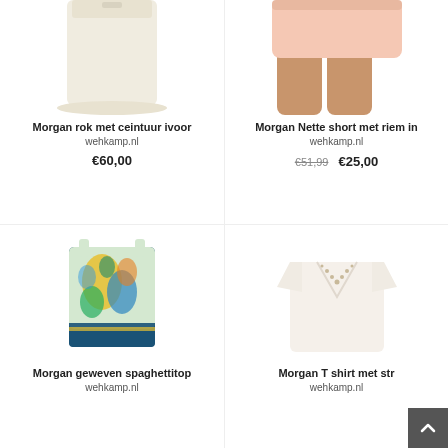[Figure (photo): Morgan rok met ceintuur ivoor - cream/ivory skirt, partial view, top portion cropped]
Morgan rok met ceintuur ivoor
wehkamp.nl
€60,00
[Figure (photo): Morgan Nette short met riem in - light pink shorts on model, cropped view]
Morgan Nette short met riem in
wehkamp.nl
€51,99  €25,00
[Figure (photo): Morgan geweven spaghettitop - colorful paisley print sleeveless top in teal, yellow, blue]
Morgan geweven spaghettitop
wehkamp.nl
[Figure (photo): Morgan T shirt met str - white/cream t-shirt with embellished neckline]
Morgan T shirt met str
wehkamp.nl